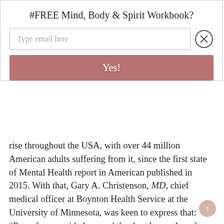#FREE Mind, Body & Spirit Workbook?
[Figure (infographic): Email signup modal with text input 'Type email here', close button (X circle), and a pink/rose 'Yes!' button]
rise throughout the USA, with over 44 million American adults suffering from it, since the first state of Mental Health report in American published in 2015. With that, Gary A. Christenson, MD, chief medical officer at Boynton Health Service at the University of Minnesota, was keen to express that: “Pets often provide love and they’re always there for you. There are a bond and companionship that makes a big difference in mental health.”
It was revealed that a study was published by the Journal of Personality and Social Psychology, which concluded that pet owners feel a sense of belonging and meaningful existence, as well as